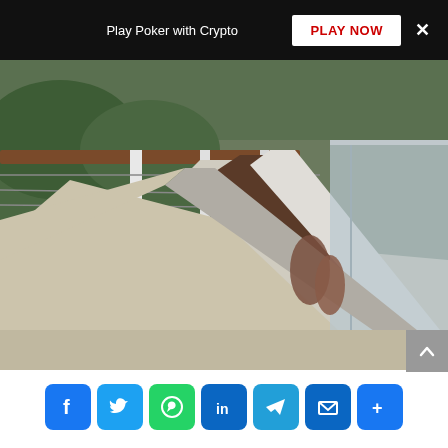Play Poker with Crypto  PLAY NOW  ×
[Figure (photo): Photograph of a balcony/terrace showing sliding door tracks, white metal railings with cable wire, beige floor tiles, greenery visible in background, and legs of a person relaxing in a hammock visible in the center of the frame.]
[Figure (infographic): Social share buttons row: Facebook, Twitter, WhatsApp, LinkedIn, Telegram, Email/Mail, and a plus/more button]